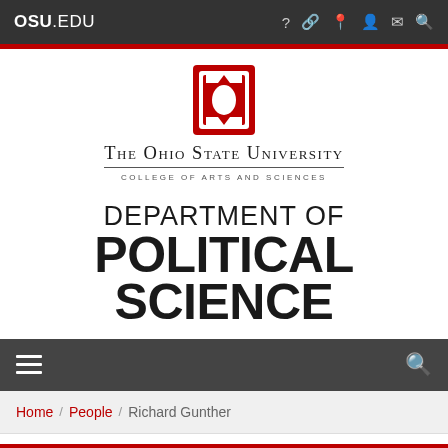OSU.EDU
[Figure (logo): The Ohio State University Block O logo in red and white, above text reading The Ohio State University, College of Arts and Sciences]
DEPARTMENT OF POLITICAL SCIENCE
Navigation bar with hamburger menu and search icon
Home / People / Richard Gunther